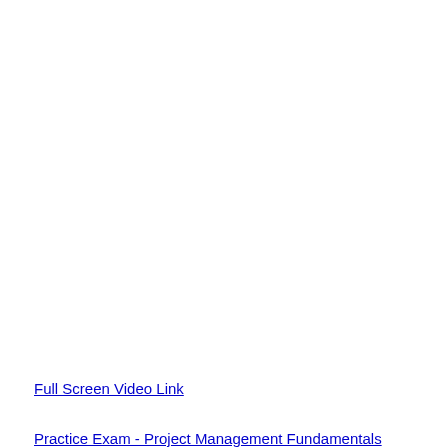Full Screen Video Link
Practice Exam - Project Management Fundamentals